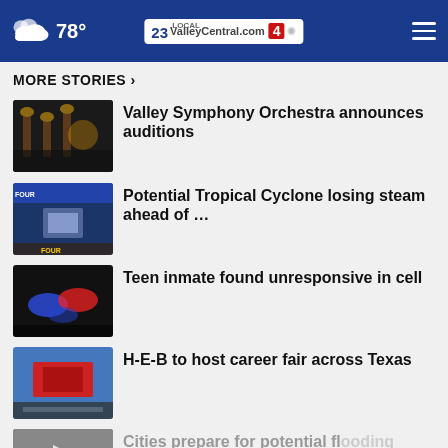78° ValleyCentral.com 23 4
MORE STORIES ›
Valley Symphony Orchestra announces auditions
Potential Tropical Cyclone losing steam ahead of …
Teen inmate found unresponsive in cell
H-E-B to host career fair across Texas
Cities prepare for potential flooding
SAPD: Texas man shoots, kills suspect
[Figure (screenshot): Ad overlay reading SHE CAN STEM with close button]